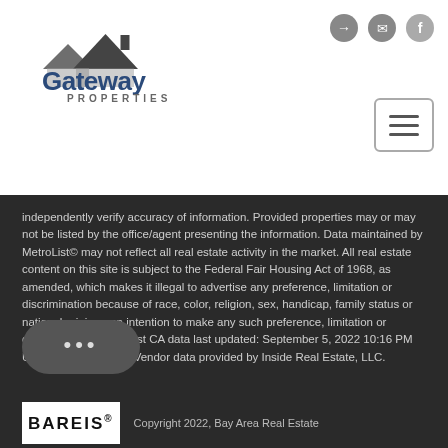[Figure (logo): Gateway Properties logo with house roof icon in dark gray and stylized text 'Gateway PROPERTIES']
[Figure (other): Top-right navigation icons: login, email, Facebook; plus hamburger menu button]
independently verify accuracy of information. Provided properties may or may not be listed by the office/agent presenting the information. Data maintained by MetroList© may not reflect all real estate activity in the market. All real estate content on this site is subject to the Federal Fair Housing Act of 1968, as amended, which makes it illegal to advertise any preference, limitation or discrimination because of race, color, religion, sex, handicap, family status or national origin or an intention to make any such preference, limitation or discrimination. MetroList CA data last updated: September 5, 2022 10:16 PM UTC   Terms of Use. Vendor data provided by Inside Real Estate, LLC.
[Figure (other): Chat bubble button with three dots (...)]
[Figure (logo): BAREIS logo in white box with copyright text: Copyright 2022, Bay Area Real Estate]